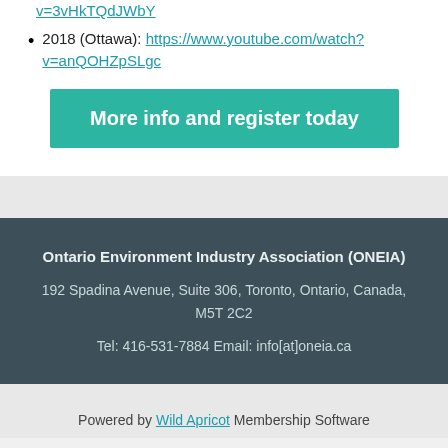v=3vHkTQdJWbY
2018 (Ottawa): https://www.youtube.com/watch?v=anQOHZpSLgc
More info and register today
Ontario Environment Industry Association (ONEIA)
192 Spadina Avenue, Suite 306, Toronto, Ontario, Canada, M5T 2C2
Tel: 416-531-7884 Email: info[at]oneia.ca
Powered by Wild Apricot Membership Software